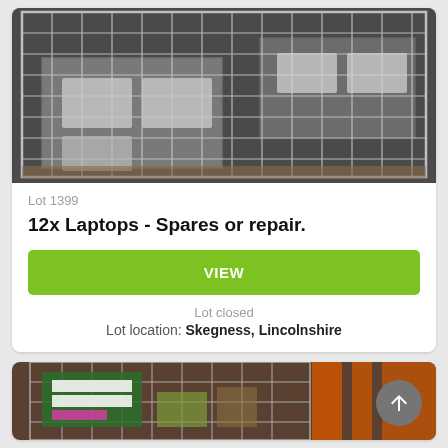[Figure (photo): Photo of a metal wire cage/pallet containing laptops, viewed from above at an angle. The cage has a grid wire frame structure with laptops inside.]
Lot 1399
12x Laptops - Spares or repair.
VIEW
Lot closed
Lot location: Skegness, Lincolnshire
[Figure (photo): Partial photo of another wire cage/trolley containing items, visible from below a card boundary. A round grey back-to-top arrow button is overlaid in the bottom right.]